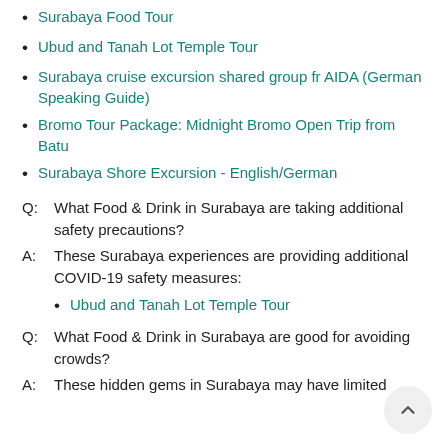Surabaya Food Tour
Ubud and Tanah Lot Temple Tour
Surabaya cruise excursion shared group fr AIDA (German Speaking Guide)
Bromo Tour Package: Midnight Bromo Open Trip from Batu
Surabaya Shore Excursion - English/German
Q:  What Food & Drink in Surabaya are taking additional safety precautions?
A:  These Surabaya experiences are providing additional COVID-19 safety measures:
Ubud and Tanah Lot Temple Tour
Q:  What Food & Drink in Surabaya are good for avoiding crowds?
A:  These hidden gems in Surabaya may have limited